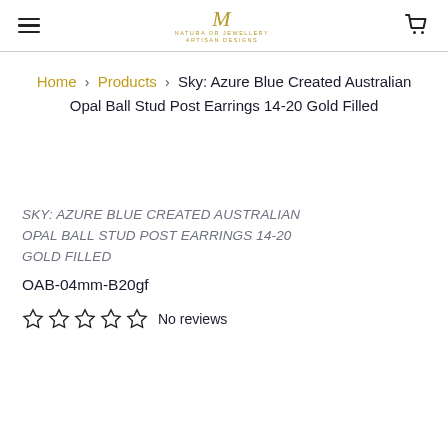M — Natura or Jewellery (logo, hamburger menu, cart icon)
Home › Products › Sky: Azure Blue Created Australian Opal Ball Stud Post Earrings 14-20 Gold Filled
SKY: AZURE BLUE CREATED AUSTRALIAN OPAL BALL STUD POST EARRINGS 14-20 GOLD FILLED
OAB-04mm-B20gf
No reviews